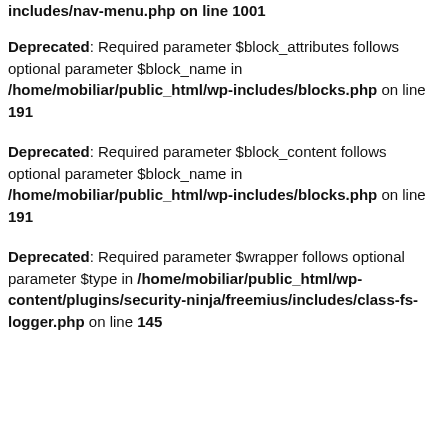includes/nav-menu.php on line 1001
Deprecated: Required parameter $block_attributes follows optional parameter $block_name in /home/mobiliar/public_html/wp-includes/blocks.PHP on line 191
Deprecated: Required parameter $block_content follows optional parameter $block_name in /home/mobiliar/public_html/wp-includes/blocks.php on line 191
Deprecated: Required parameter $wrapper follows optional parameter $type in /home/mobiliar/public_html/wp-content/plugins/security-ninja/freemius/includes/class-fs-logger.php on line 145